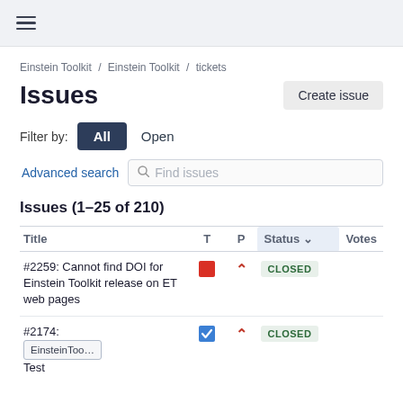≡
Einstein Toolkit / Einstein Toolkit / tickets
Issues
Create issue
Filter by:  All  Open
Advanced search  Find issues
Issues (1–25 of 210)
| Title | T | P | Status | Votes |
| --- | --- | --- | --- | --- |
| #2259: Cannot find DOI for Einstein Toolkit release on ET web pages | [red square] | [arrow up] | CLOSED |  |
| #2174: Test | EinsteinToo... [checkbox] | [arrow up] | CLOSED |  |